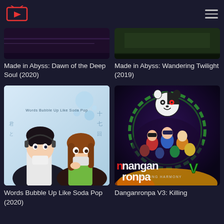Streaming service logo and navigation
[Figure (screenshot): Partial thumbnail for Made in Abyss: Dawn of the Deep Soul]
Made in Abyss: Dawn of the Deep Soul (2020)
[Figure (screenshot): Partial thumbnail for Made in Abyss: Wandering Twilight]
Made in Abyss: Wandering Twilight (2019)
[Figure (illustration): Anime cover art for Words Bubble Up Like Soda Pop featuring two anime characters]
Words Bubble Up Like Soda Pop (2020)
[Figure (illustration): Cover art for Danganronpa V3: Killing Harmony featuring many characters and a bear mascot]
Danganronpa V3: Killing